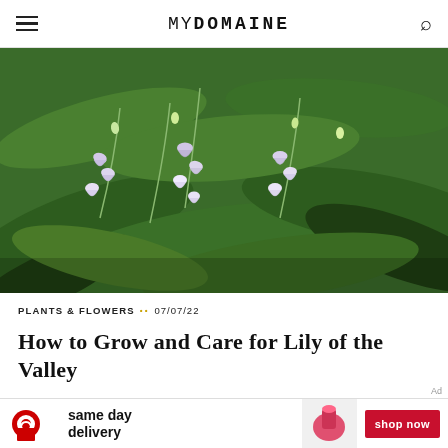MYDOMAINE
[Figure (photo): Close-up photo of lily of the valley flowers with small white-purple bell-shaped blooms and green leaves]
PLANTS & FLOWERS •• 07/07/22
How to Grow and Care for Lily of the Valley
[Figure (other): Target advertisement banner: same day delivery, shop now]